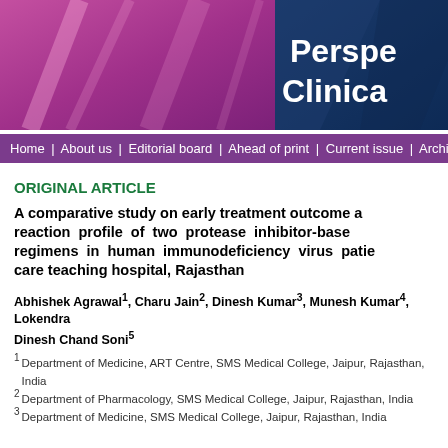[Figure (screenshot): Journal header banner with pink/purple gradient on left and dark blue panel on right with partial text 'Perspe' and 'Clinica']
Home | About us | Editorial board | Ahead of print | Current issue | Archiv
ORIGINAL ARTICLE
A comparative study on early treatment outcome a reaction profile of two protease inhibitor-base regimens in human immunodeficiency virus patie care teaching hospital, Rajasthan
Abhishek Agrawal1, Charu Jain2, Dinesh Kumar3, Munesh Kumar4, Lokendra Dinesh Chand Soni5
1 Department of Medicine, ART Centre, SMS Medical College, Jaipur, Rajasthan, India
2 Department of Pharmacology, SMS Medical College, Jaipur, Rajasthan, India
3 Department of Medicine, SMS Medical College, Jaipur, Rajasthan, India